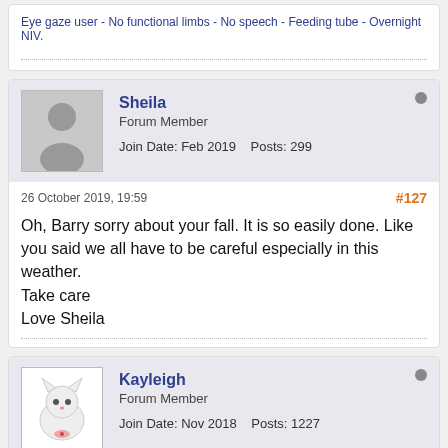Eye gaze user - No functional limbs - No speech - Feeding tube - Overnight NIV.
Sheila
Forum Member
Join Date: Feb 2019   Posts: 299
26 October 2019, 19:59
#127
Oh, Barry sorry about your fall. It is so easily done. Like you said we all have to be careful especially in this weather.
Take care
Love Sheila
Kayleigh
Forum Member
Join Date: Nov 2018   Posts: 1227